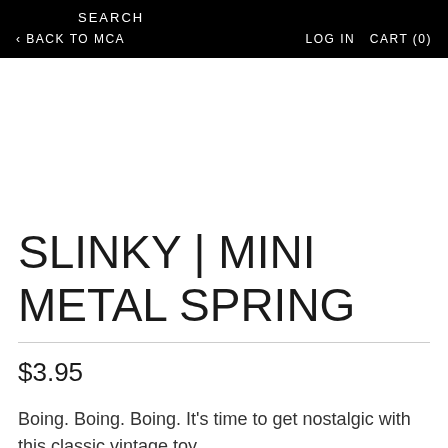SEARCH
< BACK TO MCA   LOG IN   CART (0)
SLINKY | MINI METAL SPRING
$3.95
Boing. Boing. Boing. It's time to get nostalgic with this classic vintage toy